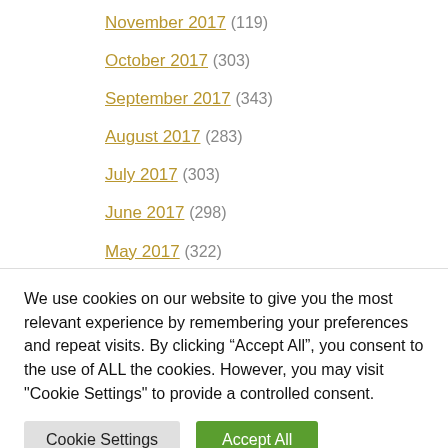November 2017 (119)
October 2017 (303)
September 2017 (343)
August 2017 (283)
July 2017 (303)
June 2017 (298)
May 2017 (322)
April 2017 (332)
March 2017 (401)
We use cookies on our website to give you the most relevant experience by remembering your preferences and repeat visits. By clicking “Accept All”, you consent to the use of ALL the cookies. However, you may visit "Cookie Settings" to provide a controlled consent.